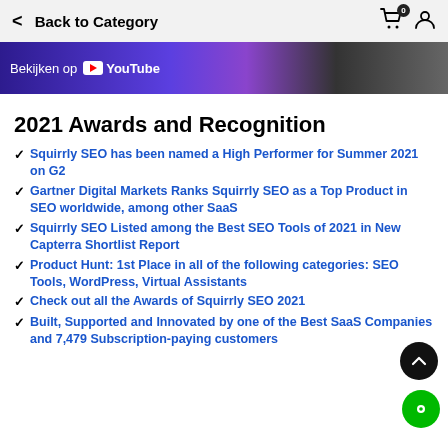Back to Category
[Figure (screenshot): YouTube banner with text 'Bekijken op YouTube' on a purple/dark gradient background]
2021 Awards and Recognition
Squirrly SEO has been named a High Performer for Summer 2021 on G2
Gartner Digital Markets Ranks Squirrly SEO as a Top Product in SEO worldwide, among other SaaS
Squirrly SEO Listed among the Best SEO Tools of 2021 in New Capterra Shortlist Report
Product Hunt: 1st Place in all of the following categories: SEO Tools, WordPress, Virtual Assistants
Check out all the Awards of Squirrly SEO 2021
Built, Supported and Innovated by one of the Best SaaS Companies and 7,479 Subscription-paying customers